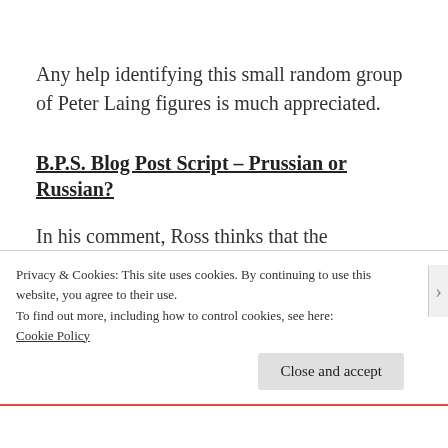Any help identifying this small random group of Peter Laing figures is much appreciated.
B.P.S. Blog Post Script – Prussian or Russian?
In his comment, Ross thinks that the infantryman has the look of a Crimean Russian
Privacy & Cookies: This site uses cookies. By continuing to use this website, you agree to their use.
To find out more, including how to control cookies, see here:
Cookie Policy
Close and accept